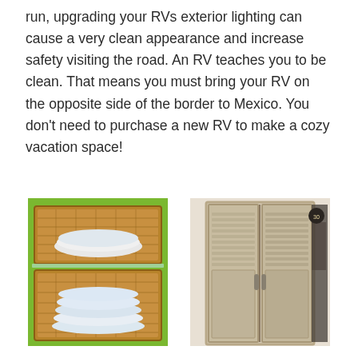run, upgrading your RVs exterior lighting can cause a very clean appearance and increase safety visiting the road. An RV teaches you to be clean. That means you must bring your RV on the opposite side of the border to Mexico. You don't need to purchase a new RV to make a cozy vacation space!
[Figure (photo): Wicker/rattan wall shelves mounted on a bright green wall, holding neatly rolled white towels.]
[Figure (photo): Rustic distressed white wooden louvered/shuttered double doors leading to a small room or closet.]